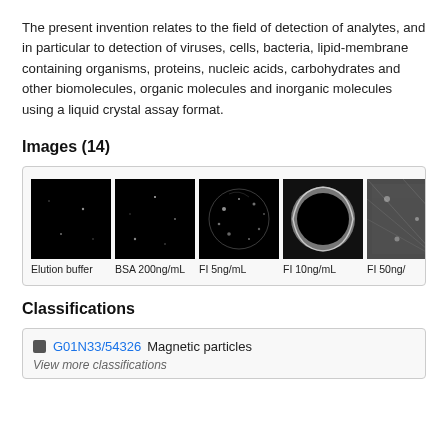The present invention relates to the field of detection of analytes, and in particular to detection of viruses, cells, bacteria, lipid-membrane containing organisms, proteins, nucleic acids, carbohydrates and other biomolecules, organic molecules and inorganic molecules using a liquid crystal assay format.
Images (14)
[Figure (photo): Five microscopy images in a row showing liquid crystal assay results under different conditions: Elution buffer, BSA 200ng/mL, FI 5ng/mL, FI 10ng/mL, FI 50ng/ (partially visible). Images appear dark/black with varying amounts of bright features indicating analyte detection.]
Classifications
G01N33/54326  Magnetic particles
View more classifications